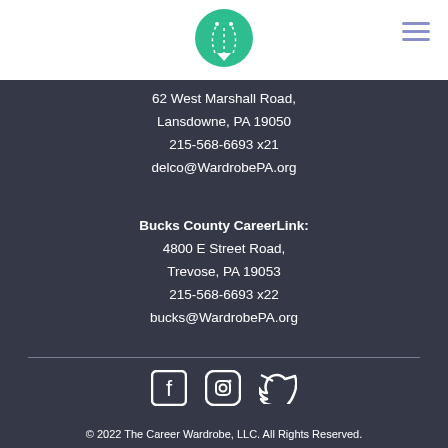[Figure (logo): Career Wardrobe logo: green circular zipper icon]
62 West Marshall Road,
Lansdowne, PA 19050
215-568-6693 x21
delco@WardrobePA.org
Bucks County CareerLink:
4800 E Street Road,
Trevose, PA 19053
215-568-6693 x22
bucks@WardrobePA.org
[Figure (illustration): Social media icons: Facebook, Instagram, Twitter]
© 2022 The Career Wardrobe, LLC. All Rights Reserved.